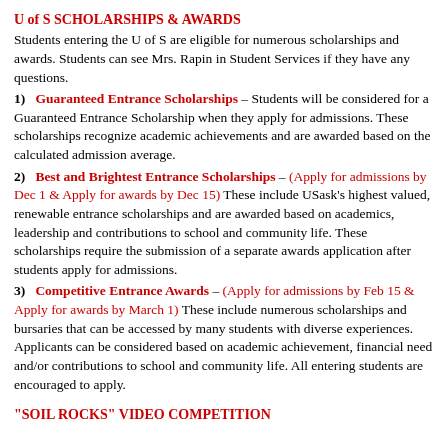U of S SCHOLARSHIPS & AWARDS
Students entering the U of S are eligible for numerous scholarships and awards. Students can see Mrs. Rapin in Student Services if they have any questions.
1) Guaranteed Entrance Scholarships – Students will be considered for a Guaranteed Entrance Scholarship when they apply for admissions. These scholarships recognize academic achievements and are awarded based on the calculated admission average.
2) Best and Brightest Entrance Scholarships – (Apply for admissions by Dec 1 & Apply for awards by Dec 15) These include USask's highest valued, renewable entrance scholarships and are awarded based on academics, leadership and contributions to school and community life. These scholarships require the submission of a separate awards application after students apply for admissions.
3) Competitive Entrance Awards – (Apply for admissions by Feb 15 & Apply for awards by March 1) These include numerous scholarships and bursaries that can be accessed by many students with diverse experiences. Applicants can be considered based on academic achievement, financial need and/or contributions to school and community life. All entering students are encouraged to apply.
"SOIL ROCKS" VIDEO COMPETITION